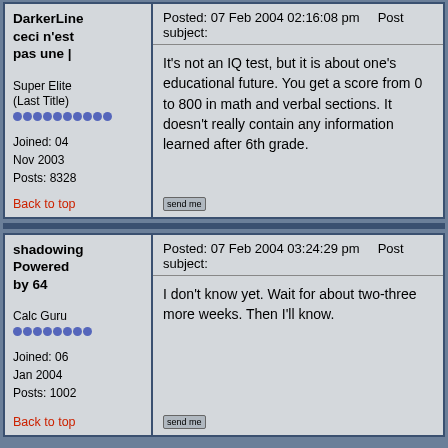DarkerLine ceci n'est pas une |
Super Elite (Last Title)
Joined: 04 Nov 2003 Posts: 8328
Back to top
Posted: 07 Feb 2004 02:16:08 pm    Post subject:
It's not an IQ test, but it is about one's educational future. You get a score from 0 to 800 in math and verbal sections. It doesn't really contain any information learned after 6th grade.
shadowing Powered by 64
Calc Guru
Joined: 06 Jan 2004 Posts: 1002
Back to top
Posted: 07 Feb 2004 03:24:29 pm    Post subject:
I don't know yet. Wait for about two-three more weeks. Then I'll know.